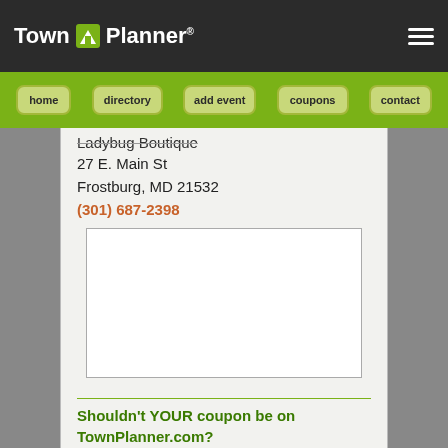Town Planner
home | directory | add event | coupons | contact
Ladybug Boutique
27 E. Main St
Frostburg, MD 21532
(301) 687-2398
[Figure (other): Empty white advertisement box with gray border]
Shouldn't YOUR coupon be on TownPlanner.com?
Did you know that it's easy to promote your business...